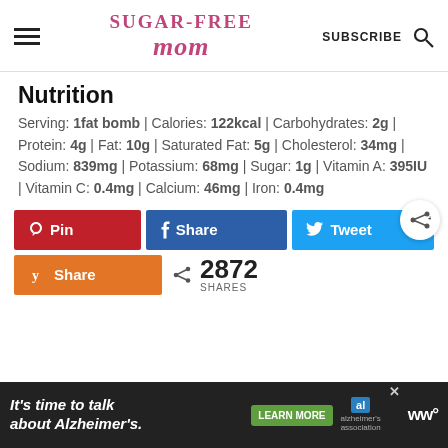Sugar-Free Mom | SUBSCRIBE
Nutrition
Serving: 1fat bomb | Calories: 122kcal | Carbohydrates: 2g | Protein: 4g | Fat: 10g | Saturated Fat: 5g | Cholesterol: 34mg | Sodium: 839mg | Potassium: 68mg | Sugar: 1g | Vitamin A: 395IU | Vitamin C: 0.4mg | Calcium: 46mg | Iron: 0.4mg
[Figure (screenshot): Social share buttons: Pin (Pinterest, red), Share (Facebook, blue), Tweet (Twitter, light blue), Share (Yummly, orange), 2872 SHARES count, and a circular share icon button]
[Figure (screenshot): Advertisement bar: It's time to talk about Alzheimer's. with LEARN MORE button and Alzheimer's Association logo]